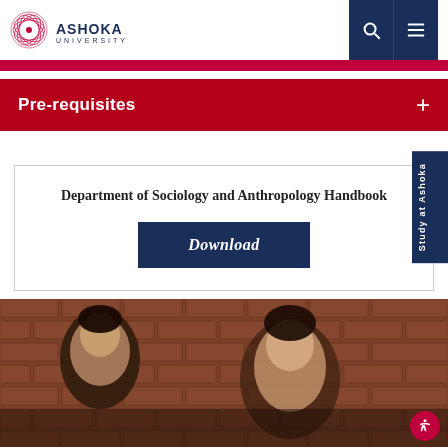Ashoka University
Pre-requisites
Department of Sociology and Anthropology Handbook
Download
[Figure (photo): Two students smiling in front of a brick wall. A 'Study at Ashoka' tab is visible on the right side. Accessibility icon button at bottom right.]